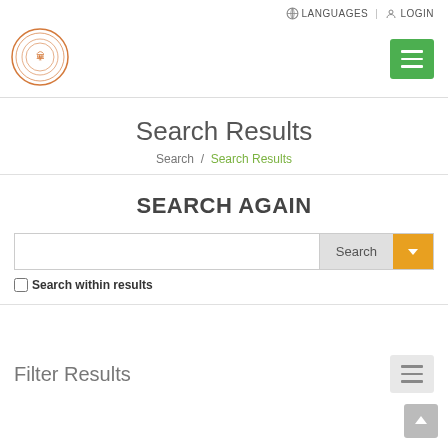LANGUAGES | LOGIN
[Figure (logo): Thai government circular emblem/seal in orange]
Search Results
Search / Search Results
SEARCH AGAIN
Search within results
Filter Results